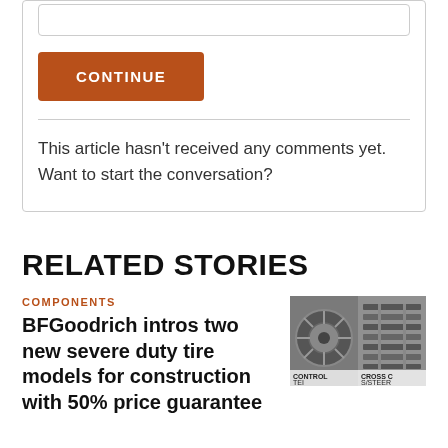CONTINUE
This article hasn't received any comments yet. Want to start the conversation?
RELATED STORIES
COMPONENTS
BFGoodrich intros two new severe duty tire models for construction with 50% price guarantee
[Figure (photo): Two tire product photos side by side. Left: a wheel/rim labeled CONTROL TEI. Right: a tire tread labeled CROSS C S/STEER.]